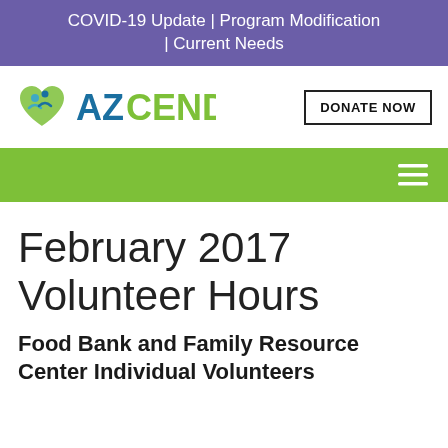COVID-19 Update | Program Modification | Current Needs
[Figure (logo): AZCEND logo with stylized heart and two figures in blue and green, followed by AZCEND text in blue and green]
DONATE NOW
[Figure (other): Green navigation bar with hamburger menu icon (three white horizontal lines) on the right]
February 2017 Volunteer Hours
Food Bank and Family Resource Center Individual Volunteers